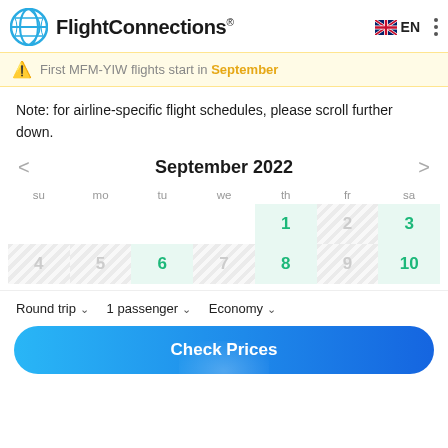FlightConnections
First MFM-YIW flights start in September
Note: for airline-specific flight schedules, please scroll further down.
[Figure (other): September 2022 calendar showing flight availability. Days with flights (green): 1, 3, 6, 8, 10. Days with no flights (hatched): 2, 4, 5, 7, 9.]
Round trip | 1 passenger | Economy
Check Prices